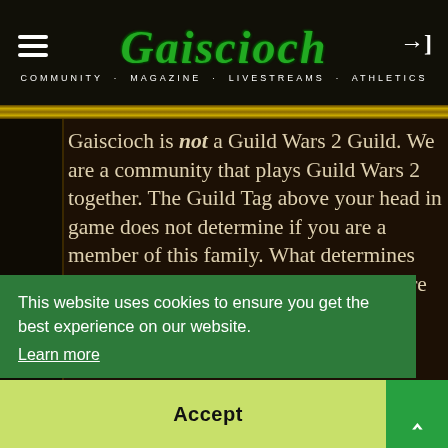[Figure (logo): Gaiscioch community website logo in green Celtic-style font with subtitle: COMMUNITY · MAGAZINE · LIVESTREAMS · ATHLETICS]
Gaiscioch is not a Guild Wars 2 Guild. We are a community that plays Guild Wars 2 together. The Guild Tag above your head in game does not determine if you are a member of this family. What determines your a member of this family is if you are
This website uses cookies to ensure you get the best experience on our website. Learn more
Accept